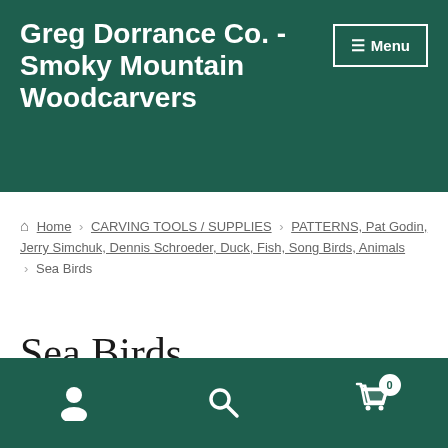Greg Dorrance Co. - Smoky Mountain Woodcarvers
Home › CARVING TOOLS / SUPPLIES › PATTERNS, Pat Godin, Jerry Simchuk, Dennis Schroeder, Duck, Fish, Song Birds, Animals › Sea Birds
Sea Birds
Navigation bar with user, search, and cart (0) icons